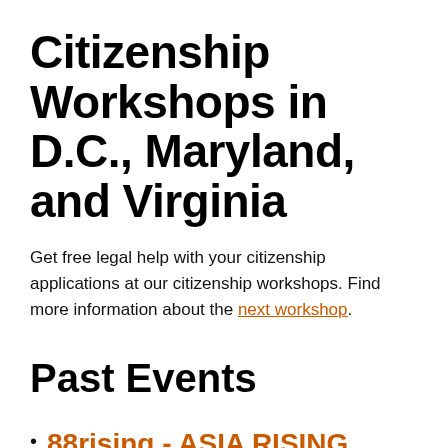Citizenship Workshops in D.C., Maryland, and Virginia
Get free legal help with your citizenship applications at our citizenship workshops. Find more information about the next workshop.
Past Events
88rising - ASIA RISING FOREVER Livestream